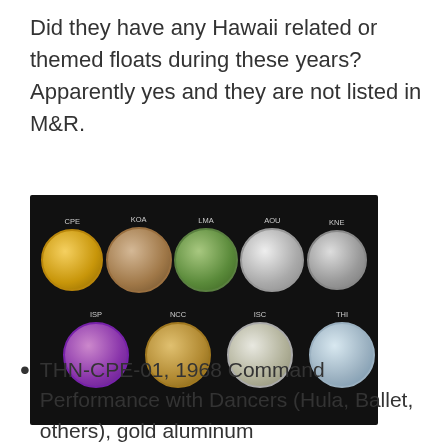Did they have any Hawaii related or themed floats during these years? Apparently yes and they are not listed in M&R.
[Figure (photo): A collection of nine commemorative coins arranged in two rows on a black background. Top row (left to right): CPE (gold coin with dancer figures), KOA (bronze/tan coin with tree figures), LMA (green coin with figure), AOU (silver coin with deer/antlered figure), KNE (silver coin with figure). Bottom row (left to right): ISP (purple coin with figures), NCC (bronze/gold coin), ISC (silver coin), THI (light blue/silver coin with figures).]
THN-CPE-01, 1968 Command Performance with Dancers (Hula, Ballet, others), gold aluminum